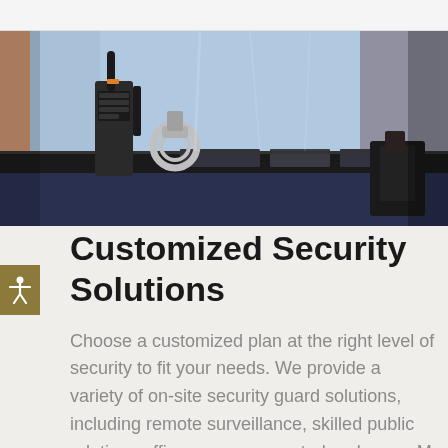[Figure (photo): Close-up photo of a security guard's torso area showing a light blue uniform shirt, a walkie-talkie/radio on the left, handcuffs, a black leather belt with utility pouches, and dark navy pants.]
Customized Security Solutions
Choose a customized plan at the right level of security to fit your needs. We provide a variety of on-site security guard solutions, including remote surveillance, skilled public relations officers, access control and more. M